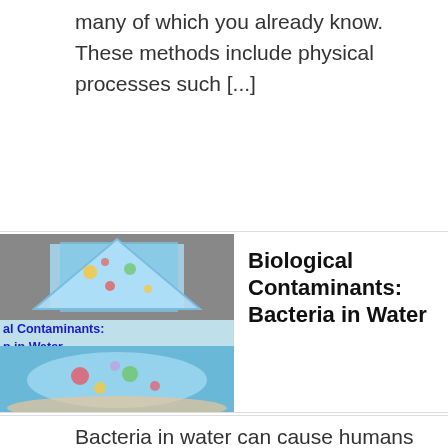many of which you already know. These methods include physical processes such [...]
[Figure (illustration): Thumbnail images showing biological contaminants / bacteria in water — a triangular shape with microorganism illustrations on top, and a hand holding water with microorganisms below. Overlaid text reads 'al Contaminants: n in Water' in blue bold font.]
Biological Contaminants: Bacteria in Water
Bacteria in water can cause humans and animals to experience various symptoms such as nausea, diarrhea, vomiting, fatigue, headaches, and fever, and